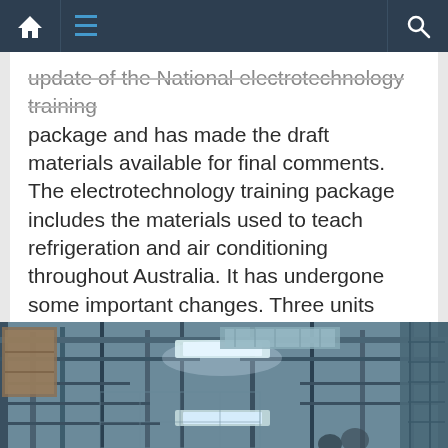Navigation bar with home, menu, and search icons
update of the National electrotechnology training package and has made the draft materials available for final comments. The electrotechnology training package includes the materials used to teach refrigeration and air conditioning throughout Australia. It has undergone some important changes. Three units have been restructured so that students get [...]
July 17, 2019   Mark Vender   Comment(0)
[Figure (photo): Interior photo of a building under construction showing metal framing, ductwork, and fluorescent lighting on ceiling]